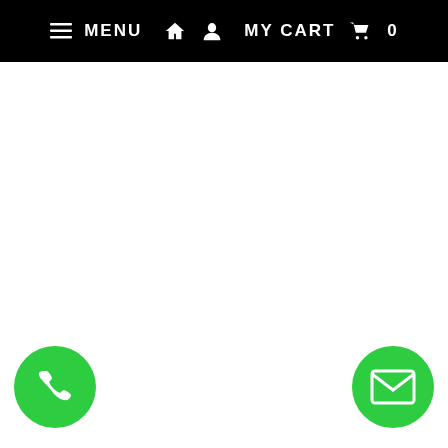≡ MENU  🏠  👤  MY CART  🛒  0
[Figure (illustration): Green circular phone call button with white telephone handset icon, positioned at bottom left]
[Figure (illustration): Green circular email/envelope button with white envelope icon, positioned at bottom right]